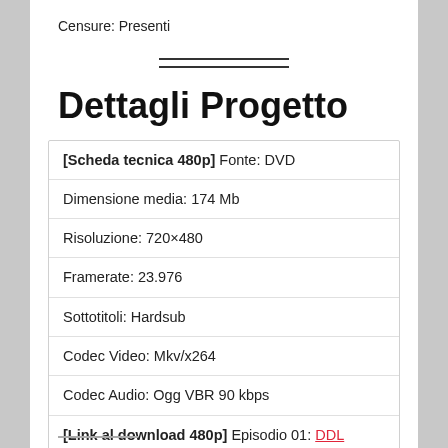Censure: Presenti
Dettagli Progetto
| [Scheda tecnica 480p] Fonte: DVD |
| Dimensione media: 174 Mb |
| Risoluzione: 720×480 |
| Framerate: 23.976 |
| Sottotitoli: Hardsub |
| Codec Video: Mkv/x264 |
| Codec Audio: Ogg VBR 90 kbps |
| [Link al download 480p] Episodio 01: DDL |